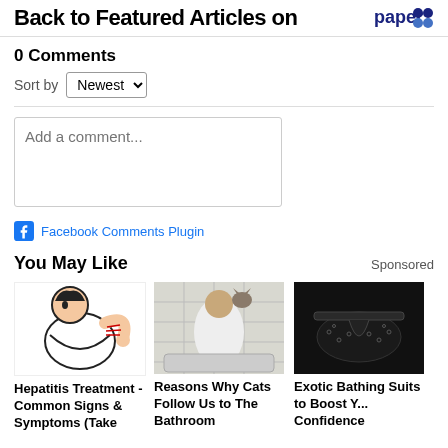Back to Featured Articles on paperG...
0 Comments
Sort by Newest
Add a comment...
Facebook Comments Plugin
You May Like
Sponsored
[Figure (illustration): Cartoon illustration of a person scratching their back]
Hepatitis Treatment - Common Signs & Symptoms (Take
[Figure (photo): Photo of a bearded man at a bathroom sink with a cat on his shoulder]
Reasons Why Cats Follow Us to The Bathroom
[Figure (photo): Photo of black lace lingerie / exotic bathing suit]
Exotic Bathing Suits to Boost Y... Confidence